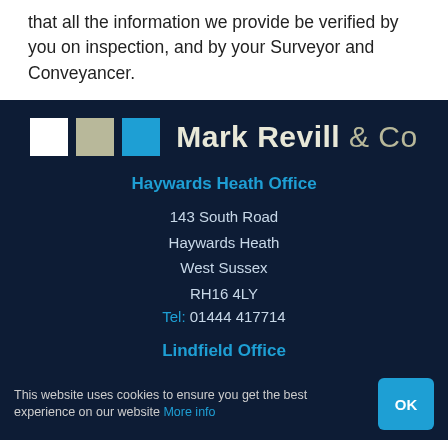that all the information we provide be verified by you on inspection, and by your Surveyor and Conveyancer.
[Figure (logo): Mark Revill & Co logo with three coloured squares (white, tan, blue) and company name]
Haywards Heath Office
143 South Road
Haywards Heath
West Sussex
RH16 4LY
Tel: 01444 417714
Lindfield Office
43 High Street
Lindfield
This website uses cookies to ensure you get the best experience on our website More info